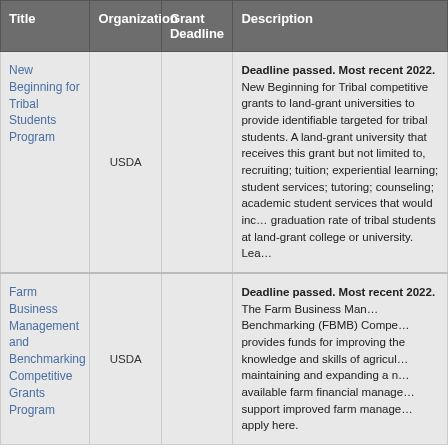| Title | Organization | Grant Deadline | Description |
| --- | --- | --- | --- |
| New Beginning for Tribal Students Program | USDA |  | Deadline passed. Most recent 2022. New Beginning for Tribal competitive grants to land-grant universities to provide identifiable targeted for tribal students. A land-grant university that receives this grant but not limited to, recruiting; tuition; experiential learning; student services; tutoring; counseling; academic student services that would increase graduation rate of tribal students at land-grant college or university. Learn more |
| Farm Business Management and Benchmarking Competitive Grants Program | USDA |  | Deadline passed. Most recent 2022. The Farm Business Management Benchmarking (FBMB) Competitive provides funds for improving the knowledge and skills of agricultural maintaining and expanding a network of available farm financial management to support improved farm management. apply here. |